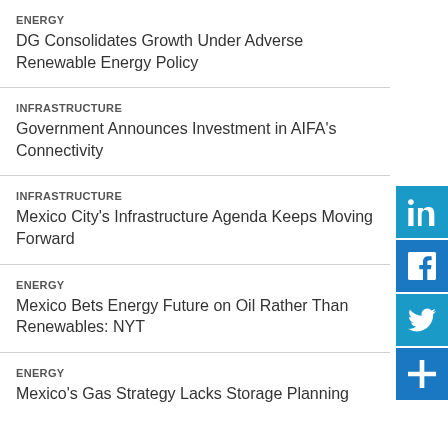ENERGY
DG Consolidates Growth Under Adverse Renewable Energy Policy
INFRASTRUCTURE
Government Announces Investment in AIFA's Connectivity
INFRASTRUCTURE
Mexico City's Infrastructure Agenda Keeps Moving Forward
ENERGY
Mexico Bets Energy Future on Oil Rather Than Renewables: NYT
ENERGY
Mexico's Gas Strategy Lacks Storage Planning